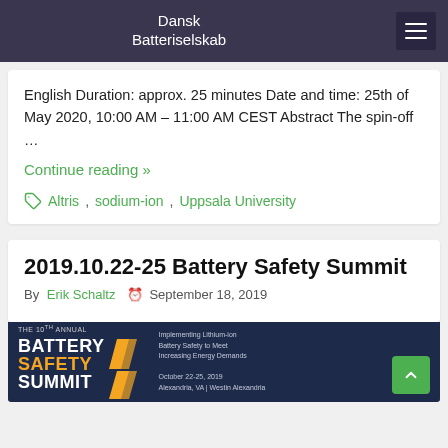Dansk Batteriselskab
English Duration: approx. 25 minutes Date and time: 25th of May 2020, 10:00 AM – 11:00 AM CEST Abstract The spin-off …
Continue reading »
Altris, sodium-ion, Uppsala University
2019.10.22-25 Battery Safety Summit
By Erik Schaltz  September 18, 2019
[Figure (photo): Battery Safety Summit conference banner/logo with orange and white text on dark blue background, showing '2019.10.22-25 Battery Safety Summit' event details]